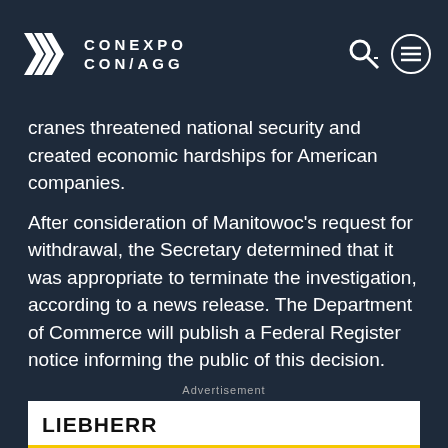CONEXPO CON/AGG
cranes threatened national security and created economic hardships for American companies.
After consideration of Manitowoc's request for withdrawal, the Secretary determined that it was appropriate to terminate the investigation, according to a news release. The Department of Commerce will publish a Federal Register notice informing the public of this decision.
Advertisement
[Figure (other): Liebherr Earthmoving advertisement banner with logo and partial image of earthmoving equipment]